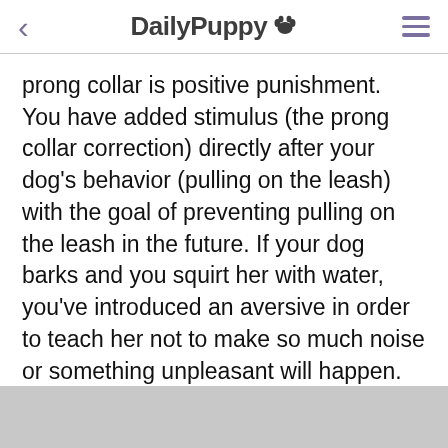DailyPuppy 🐾
prong collar is positive punishment. You have added stimulus (the prong collar correction) directly after your dog's behavior (pulling on the leash) with the goal of preventing pulling on the leash in the future. If your dog barks and you squirt her with water, you've introduced an aversive in order to teach her not to make so much noise or something unpleasant will happen.